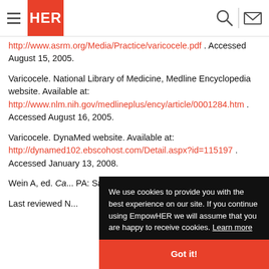HER — navigation header with logo, hamburger menu, search and mail icons
http://www.asrm.org/Media/Practice/varicocele.pdf . Accessed August 15, 2005.
Varicocele. National Library of Medicine, Medline Encyclopedia website. Available at: http://www.nlm.nih.gov/medlineplus/ency/article/0001284.htm . Accessed August 16, 2005.
Varicocele. DynaMed website. Available at: http://dynamed102.ebscohost.com/Detail.aspx?id=115197 . Accessed January 13, 2008.
Wein A, ed. Ca... PA: Saunders,
Last reviewed N...